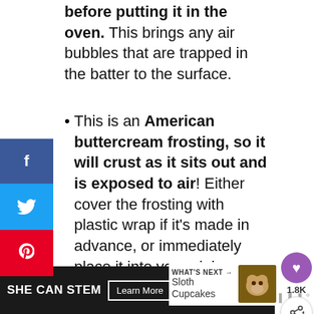before putting it in the oven. This brings any air bubbles that are trapped in the batter to the surface.
This is an American buttercream frosting, so it will crust as it sits out and is exposed to air! Either cover the frosting with plastic wrap if it's made in advance, or immediately place it into your piping bags.
[Figure (screenshot): Social media share sidebar with Facebook, Twitter, Pinterest buttons on left; heart (1.8K) and share buttons on right]
[Figure (screenshot): What's Next card: Sloth Cupcakes thumbnail with text]
[Figure (screenshot): SHE CAN STEM ad banner with Learn More button, STEM logo, Ad Council logo]